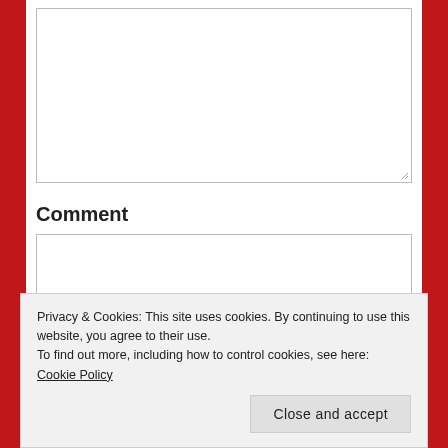[Figure (screenshot): A large empty textarea form field at the top of the page, with a resize handle in the bottom-right corner.]
Comment
[Figure (screenshot): A smaller empty textarea form field for entering a comment.]
[Figure (screenshot): A partially visible red submit button at the bottom of the form.]
Privacy & Cookies: This site uses cookies. By continuing to use this website, you agree to their use.
To find out more, including how to control cookies, see here: Cookie Policy
Close and accept